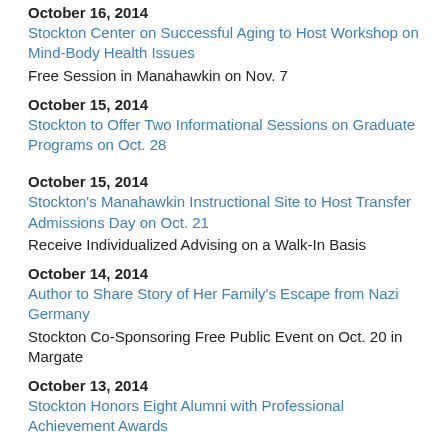October 16, 2014
Stockton Center on Successful Aging to Host Workshop on Mind-Body Health Issues
Free Session in Manahawkin on Nov. 7
October 15, 2014
Stockton to Offer Two Informational Sessions on Graduate Programs on Oct. 28
October 15, 2014
Stockton's Manahawkin Instructional Site to Host Transfer Admissions Day on Oct. 21
Receive Individualized Advising on a Walk-In Basis
October 14, 2014
Author to Share Story of Her Family's Escape from Nazi Germany
Stockton Co-Sponsoring Free Public Event on Oct. 20 in Margate
October 13, 2014
Stockton Honors Eight Alumni with Professional Achievement Awards